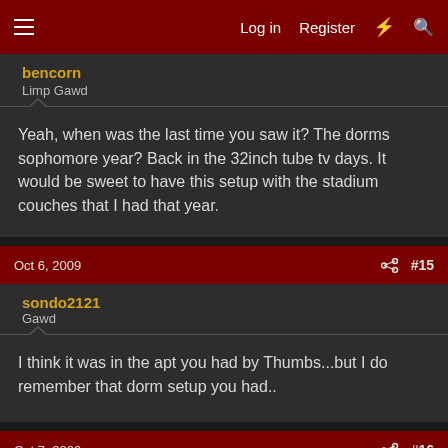Log in  Register  #  🔍
bencorn
Limp Gawd
Yeah, when was the last time you saw it? The dorms sophomore year? Back in the 32inch tube tv days. It would be sweet to have this setup with the stadium couches that I had that year.
Oct 6, 2009  #15
sondo2121
Gawd
I think it was in the apt you had by Thumbs...but I do remember that dorm setup you had..
Oct 7, 2009  #16